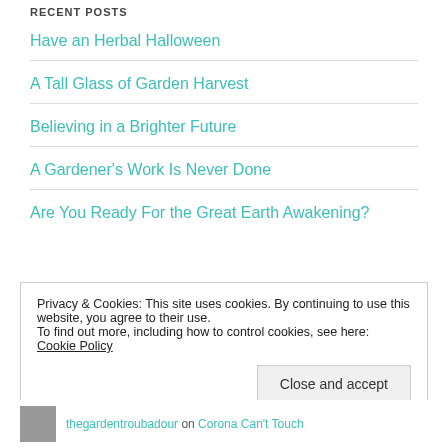RECENT POSTS
Have an Herbal Halloween
A Tall Glass of Garden Harvest
Believing in a Brighter Future
A Gardener's Work Is Never Done
Are You Ready For the Great Earth Awakening?
Privacy & Cookies: This site uses cookies. By continuing to use this website, you agree to their use.
To find out more, including how to control cookies, see here: Cookie Policy
Close and accept
thegardentroubadour on Corona Can't Touch